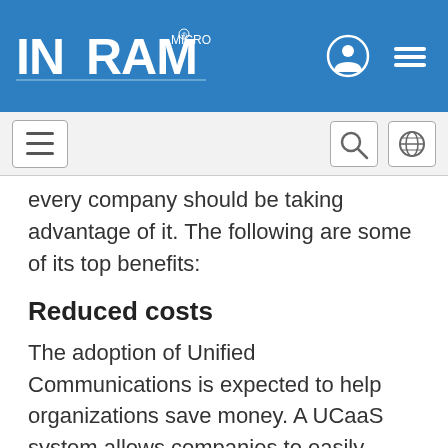Ingram Micro [logo with navigation icons]
every company should be taking advantage of it. The following are some of its top benefits:
Reduced costs
The adoption of Unified Communications is expected to help organizations save money. A UCaaS system allows companies to easily integrate their legacy systems and leverage the power of VoIP, software-as-a-service (SaaS), or cloud computing. Also,